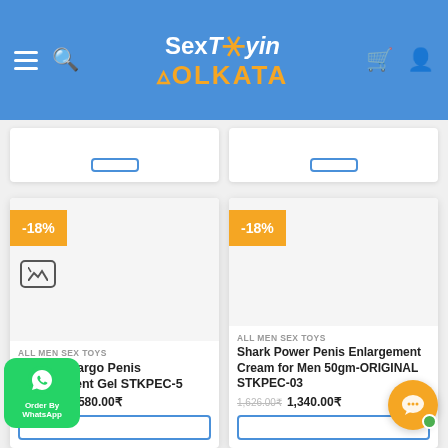SexToyinKolkata - e-commerce header with hamburger menu, search, logo, cart, and user icons
[Figure (screenshot): Partially visible product cards from previous row with blue-bordered buttons]
[Figure (screenshot): Product card: Inverma Largo Penis Enlargement Gel STKPEC-5, -18% discount badge, category ALL MEN SEX TOYS, original price 1,926.00₹, sale price 1,580.00₹]
[Figure (screenshot): Product card: Shark Power Penis Enlargement Cream for Men 50gm-ORIGINAL STKPEC-03, -18% discount badge, category ALL MEN SEX TOYS, original price 1,626.00₹, sale price 1,340.00₹]
[Figure (screenshot): WhatsApp Order By WhatsApp button (green) and orange chat bubble widget in bottom corners]